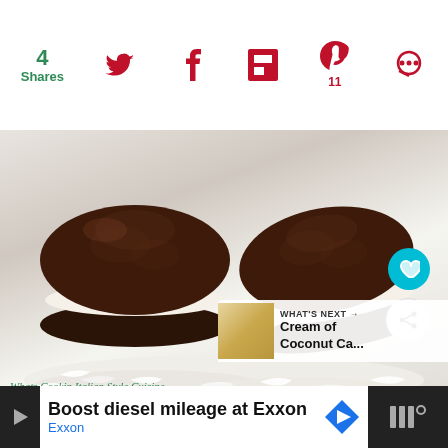4 Shares | Twitter | Facebook | Flipboard | Pinterest 11 | Other
[Figure (photo): Two chocolate whoopie pies with white cream filling, set on shredded coconut on a light background. Watermark reads: Whats Cookin Italian Style Cuisine. Heart and share buttons visible on right side.]
WHAT'S NEXT → Cream of Coconut Ca...
Boost diesel mileage at Exxon
Exxon